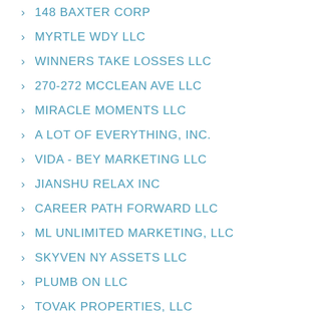148 BAXTER CORP
MYRTLE WDY LLC
WINNERS TAKE LOSSES LLC
270-272 MCCLEAN AVE LLC
MIRACLE MOMENTS LLC
A LOT OF EVERYTHING, INC.
VIDA - BEY MARKETING LLC
JIANSHU RELAX INC
CAREER PATH FORWARD LLC
ML UNLIMITED MARKETING, LLC
SKYVEN NY ASSETS LLC
PLUMB ON LLC
TOVAK PROPERTIES, LLC